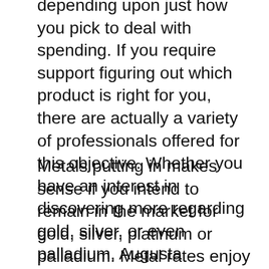depending upon just how you pick to deal with spending. If you require support figuring out which product is right for you, there are actually a variety of professionals offered for this objective. Whether you have an interest in discovering more regarding gold, silver, or even palladium, Augusta Priceless Metals has an amount of services to assist you create the right assets choice.
Metals putting in makes sense if you intend to remain in the market for gold, silver, platinum or palladium. Metal rates enjoy and drop with time. Along with an investment in rare-earth elements, you are really buying an insurance coverage against rising cost of living. If the value of precious metals goes up, you can be certain that they will